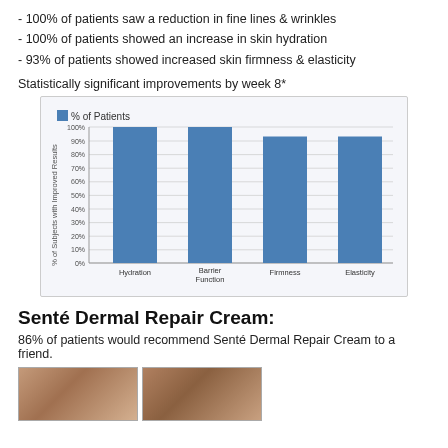- 100% of patients saw a reduction in fine lines & wrinkles
- 100% of patients showed an increase in skin hydration
- 93% of patients showed increased skin firmness & elasticity
Statistically significant improvements by week 8*
[Figure (bar-chart): % of Patients]
Senté Dermal Repair Cream:
86% of patients would recommend Senté Dermal Repair Cream to a friend.
[Figure (photo): Before/after skin close-up photos showing eye area]